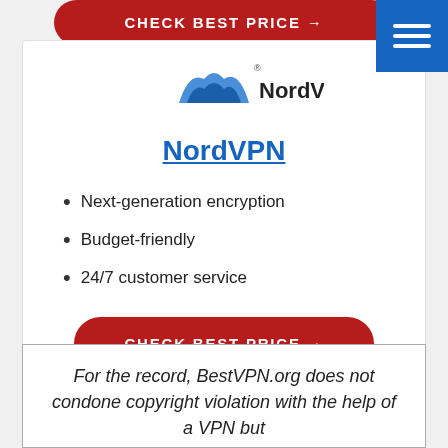[Figure (other): Red rounded 'CHECK BEST PRICE →' button, partially cropped at top of page]
[Figure (logo): NordVPN logo — blue arc/mountain shape with 'NordVPN' text and trademark symbol]
NordVPN
Next-generation encryption
Budget-friendly
24/7 customer service
[Figure (other): Red rounded 'CHECK BEST PRICE →' button]
For the record, BestVPN.org does not condone copyright violation with the help of a VPN but